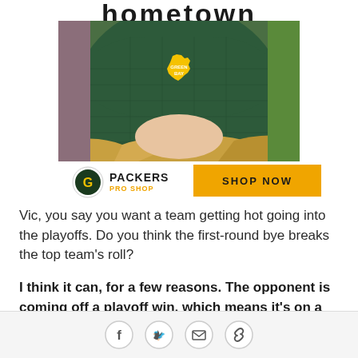hometown
[Figure (photo): Person wearing a dark green bucket hat with a yellow Wisconsin state shape and 'Green Bay' text logo on it, with blonde hair visible below the hat]
[Figure (logo): Green Bay Packers Pro Shop logo — circular G logo with 'PACKERS' in bold and 'PRO SHOP' in gold below]
[Figure (other): Yellow 'SHOP NOW' button]
Vic, you say you want a team getting hot going into the playoffs. Do you think the first-round bye breaks the top team's roll?
I think it can, for a few reasons. The opponent is coming off a playoff win, which means it's on a playoff roll. It has momentum and the confidence
Facebook, Twitter, Email, Link share icons